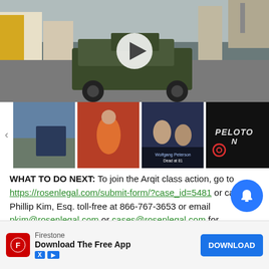[Figure (screenshot): Main video thumbnail showing a military armored vehicle on a street, with a white play button overlay in the center]
[Figure (screenshot): Four thumbnail images in a horizontal strip: 1) street with military vehicle, 2) football player in orange jersey, 3) two men with text 'Dead at 81', 4) Peloton logo on dark background. Left arrow navigation visible.]
WHAT TO DO NEXT: To join the Arqit class action, go to https://rosenlegal.com/submit-form/?case_id=5481 or call Phillip Kim, Esq. toll-free at 866-767-3653 or email pkim@rosenlegal.com or cases@rosenlegal.com for information on the class action. A class action lawsuit already been filed. If you wish to serve as lead plaintiff, you must m... d
[Figure (screenshot): Advertisement banner for Firestone app: 'Download The Free App' with a red Firestone icon, blue Download button, and X and play ad badges at bottom left]